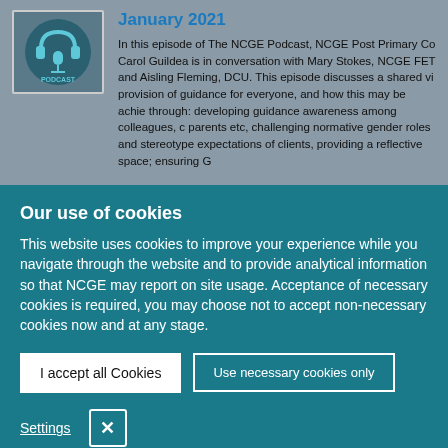January 2021
In this episode of The NCGE Podcast, NCGE Post Primary Co Carol Guildea is in conversation with Mary Stokes, NCGE FET and Aisling Fleming, DCU. This episode discusses a shared vi provision of guidance for everyone, and how this may be achie through: developing guidance awareness among colleagues, c parents etc, challenging normative gender roles and stereotype expectations of clients, providing a reflective space; ensuring G
Our use of cookies
This website uses cookies to improve your experience while you navigate through the website and to provide analytical information so that NCGE may report on site usage. Acceptance of necessary cookies is required, you may choose not to accept non-necessary cookies now and at any stage.
I accept all Cookies
Use necessary cookies only
Settings